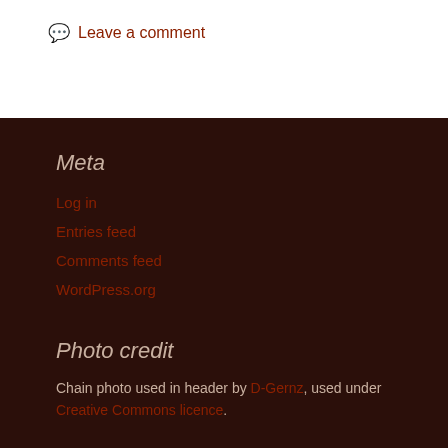💬 Leave a comment
Meta
Log in
Entries feed
Comments feed
WordPress.org
Photo credit
Chain photo used in header by D-Gernz, used under Creative Commons licence.